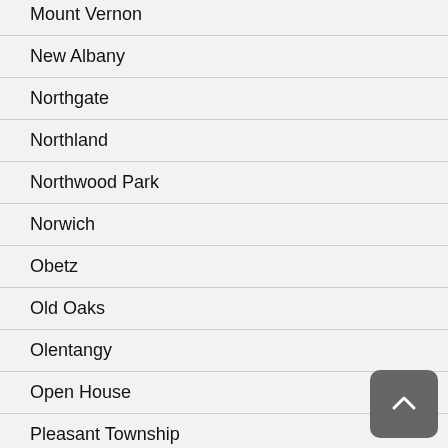Mount Vernon
New Albany
Northgate
Northland
Northwood Park
Norwich
Obetz
Old Oaks
Olentangy
Open House
Pleasant Township
Polaris